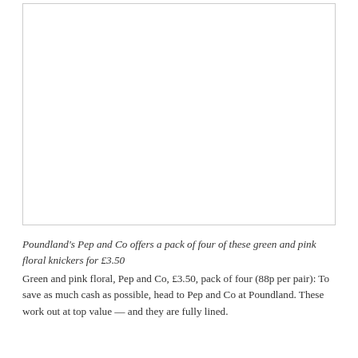[Figure (photo): A blank white rectangular image placeholder with a light grey border, occupying the upper portion of the page.]
Poundland's Pep and Co offers a pack of four of these green and pink floral knickers for £3.50
Green and pink floral, Pep and Co, £3.50, pack of four (88p per pair): To save as much cash as possible, head to Pep and Co at Poundland. These work out at top value — and they are fully lined.